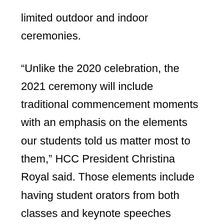limited outdoor and indoor ceremonies.
“Unlike the 2020 celebration, the 2021 ceremony will include traditional commencement moments with an emphasis on the elements our students told us matter most to them,” HCC President Christina Royal said. Those elements include having student orators from both classes and keynote speeches delivered by the 2020 and 2021 recipients of the Elaine Marieb Chair for Teaching Excellence, HCC’s highest faculty award. “We will also have a virtual procession and the traditional reading of names of graduates from both classes along with photographs submitted by members of each class.”
For the fall 2021 semester, which begins Tuesday,